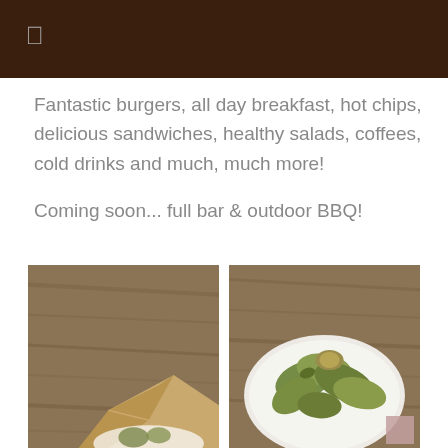Fantastic burgers, all day breakfast, hot chips, delicious sandwiches, healthy salads, coffees, cold drinks and much, much more!

Coming soon... full bar & outdoor BBQ!
[Figure (photo): Photo of a wooden table with a folded tan/gold napkin and a white bowl with succulent plants]
[Figure (photo): Close-up photo of succulent plants in a white bowl on a wooden table]